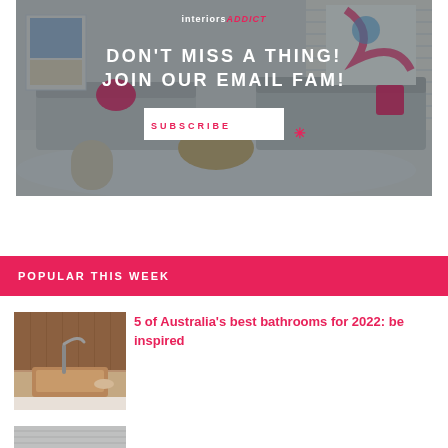[Figure (photo): Interior living room styled with grey sofas, pink accent pillows and cushions, a round gold coffee table, and neutral rug. Text overlay reads: 'DON'T MISS A THING! JOIN OUR EMAIL FAM!' with a SUBSCRIBE button. Interiors Addict logo at top.]
POPULAR THIS WEEK
[Figure (photo): Thumbnail image of a bathroom with copper/stone basin and modern tap.]
5 of Australia's best bathrooms for 2022: be inspired
[Figure (photo): Partial thumbnail of another article image at the bottom edge.]